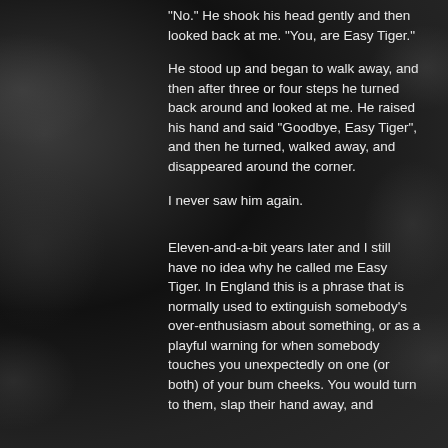“No.” He shook his head gently and then looked back at me. “You, are Easy Tiger.”
He stood up and began to walk away, and then after three or four steps he turned back around and looked at me. He raised his hand and said “Goodbye, Easy Tiger”, and then he turned, walked away, and disappeared around the corner.
I never saw him again.
Eleven-and-a-bit years later and I still have no idea why he called me Easy Tiger. In England this is a phrase that is normally used to extinguish somebody’s over-enthusiasm about something, or as a playful warning for when somebody touches you unexpectedly on one (or both) of your bum cheeks. You would turn to them, slap their hand away, and